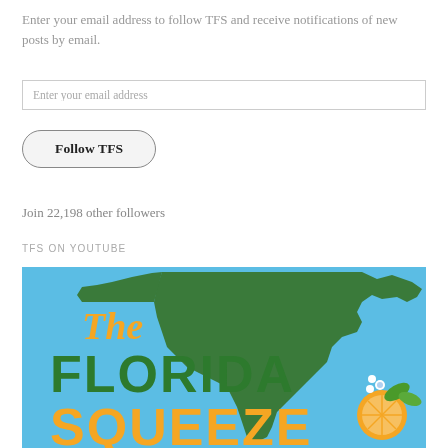Enter your email address to follow TFS and receive notifications of new posts by email.
Enter your email address
Follow TFS
Join 22,198 other followers
TFS ON YOUTUBE
[Figure (illustration): The Florida Squeeze logo on a blue background featuring a green silhouette of Florida, orange script text reading 'The', bold green text reading 'FLORIDA', and orange text reading 'SQUEEZE' with an orange slice and flower graphic in the bottom right corner.]